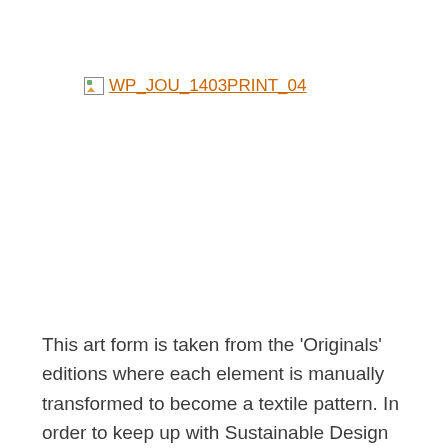[Figure (other): Broken image placeholder link labeled WP_JOU_1403PRINT_04]
This art form is taken from the ‘Originals’ editions where each element is manually transformed to become a textile pattern. In order to keep up with Sustainable Design Principles, the patterns must be maximized and be able to fulfill the anagram concept, a perspective play on patterns,